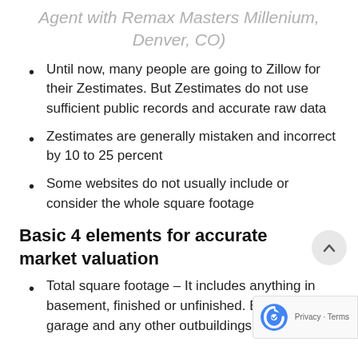Agent with Remax Masters Millenium, Denver, CO)
Until now, many people are going to Zillow for their Zestimates. But Zestimates do not use sufficient public records and accurate raw data
Zestimates are generally mistaken and incorrect by 10 to 25 percent
Some websites do not usually include or consider the whole square footage
Basic 4 elements for accurate market valuation
Total square footage – It includes anything in basement, finished or unfinished. Excluding garage and any other outbuildings but the main